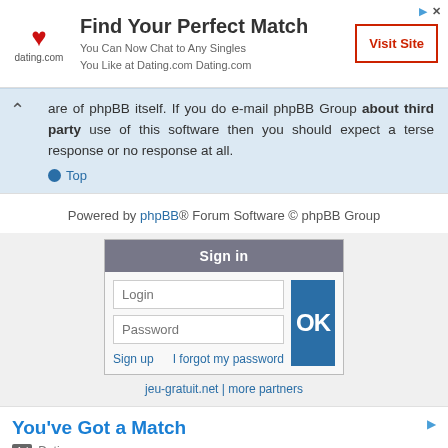[Figure (other): Dating.com advertisement banner with heart logo, headline 'Find Your Perfect Match', subtext 'You Can Now Chat to Any Singles You Like at Dating.com Dating.com', and a 'Visit Site' button]
are of phpBB itself. If you do e-mail phpBB Group about third party use of this software then you should expect a terse response or no response at all.
Top
Powered by phpBB® Forum Software © phpBB Group
[Figure (screenshot): Sign in widget with Login and Password fields, OK button, Sign up and I forgot my password links]
jeu-gratuit.net | more partners
[Figure (other): Dating.com advertisement: You've Got a Match, Ad Dating.com]